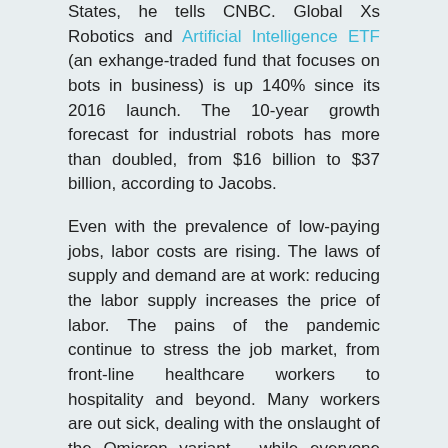States, he tells CNBC. Global Xs Robotics and Artificial Intelligence ETF (an exhange-traded fund that focuses on bots in business) is up 140% since its 2016 launch. The 10-year growth forecast for industrial robots has more than doubled, from $16 billion to $37 billion, according to Jacobs.
Even with the prevalence of low-paying jobs, labor costs are rising. The laws of supply and demand are at work: reducing the labor supply increases the price of labor. The pains of the pandemic continue to stress the job market, from front-line healthcare workers to hospitality and beyond. Many workers are out sick, dealing with the onslaught of the Omicron variant - while everyone wonders how long it will be until this new wave subsides.
Economic Factors: Balancing Quality and Quantity
While unemployment may be low, the nature of the work hasn't changed. Quantity is not the same as quality, and